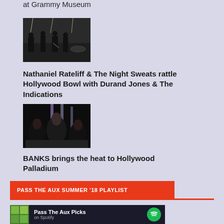at Grammy Museum
[Figure (photo): Band performing on stage with dark lighting, several musicians visible]
Nathaniel Rateliff & The Night Sweats rattle Hollywood Bowl with Durand Jones & The Indications
[Figure (photo): Women in dark clothing posed in dark studio setting with lights]
BANKS brings the heat to Hollywood Palladium
PASS THE AUX SUMMER '18 PLAYLIST
[Figure (screenshot): Spotify playlist widget showing Pass The Aux Picks with green album thumbnail]